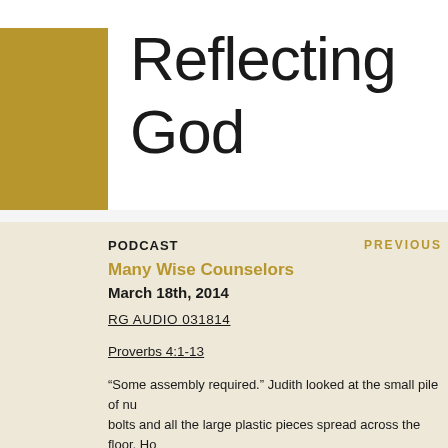Reflecting God
PODCAST
PREVIOUS
Many Wise Counselors
March 18th, 2014
RG AUDIO 031814
Proverbs 4:1-13
“Some assembly required.” Judith looked at the small pile of nuts, bolts and all the large plastic pieces spread across the floor. How world would all these pieces fit together into a child’s “Big Whe…